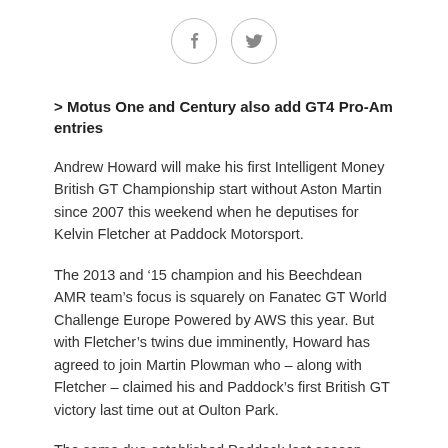[Figure (other): Social sharing icons: Facebook and Twitter circular icon buttons]
> Motus One and Century also add GT4 Pro-Am entries
Andrew Howard will make his first Intelligent Money British GT Championship start without Aston Martin since 2007 this weekend when he deputises for Kelvin Fletcher at Paddock Motorsport.
The 2013 and ‘15 champion and his Beechdean AMR team’s focus is squarely on Fanatec GT World Challenge Europe Powered by AWS this year. But with Fletcher’s twins due imminently, Howard has agreed to join Martin Plowman who – along with Fletcher – claimed his and Paddock’s first British GT victory last time out at Oulton Park.
The same duo established Paddock last season after winning